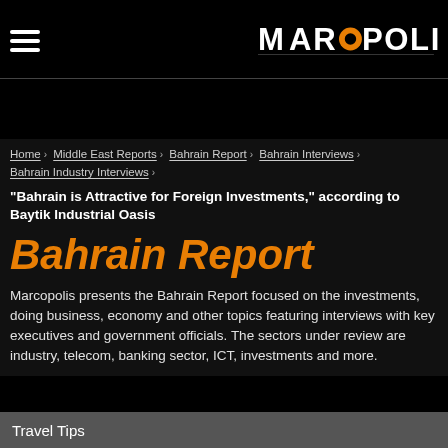[Figure (logo): Marcopolis logo in white and orange on black background, with hamburger menu icon on the left]
Home > Middle East Reports > Bahrain Report > Bahrain Interviews > Bahrain Industry Interviews >
"Bahrain is Attractive for Foreign Investments," according to Baytik Industrial Oasis
Bahrain Report
Marcopolis presents the Bahrain Report focused on the investments, doing business, economy and other topics featuring interviews with key executives and government officials. The sectors under review are industry, telecom, banking sector, ICT, investments and more.
Travel Tips